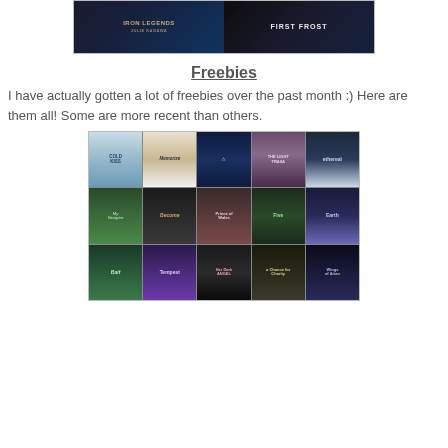[Figure (photo): Top collage of two book covers: Iron Legends by Julie Kagawa and First Frost]
Freebies
I have actually gotten a lot of freebies over the past month :) Here are them all! Some are more recent than others.
[Figure (photo): Grid of 15 book covers including Cold Kiss, Memorize, First Frost-like, The Light of Traina, Ethereal (Row 1); My Vampire/Vampire-related, Become, Prince of Wales, Five, Earth (Row 2); Bait, Tempest, Her Dark Angel, A Chance for Charity, Wings of Arian (Row 3)]